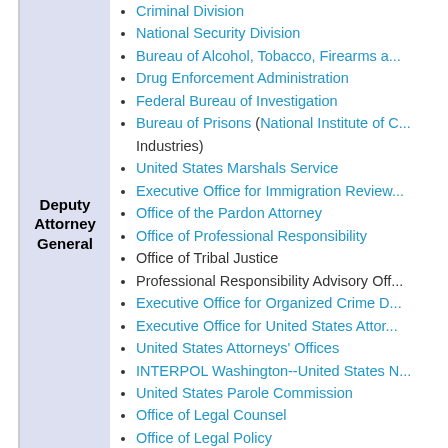Deputy Attorney General
Criminal Division
National Security Division
Bureau of Alcohol, Tobacco, Firearms and Explosives
Drug Enforcement Administration
Federal Bureau of Investigation
Bureau of Prisons (National Institute of Corrections, Federal Prison Industries)
United States Marshals Service
Executive Office for Immigration Review
Office of the Pardon Attorney
Office of Professional Responsibility
Office of Tribal Justice
Professional Responsibility Advisory Office
Executive Office for Organized Crime Drug Enforcement Task Force
Executive Office for United States Attorneys
United States Attorneys' Offices
INTERPOL Washington--United States National Central Bureau
United States Parole Commission
Office of Legal Counsel
Office of Legal Policy
Office of Legislative Affairs
Office of Public Affairs
Department of Justice Office of the Inspector General